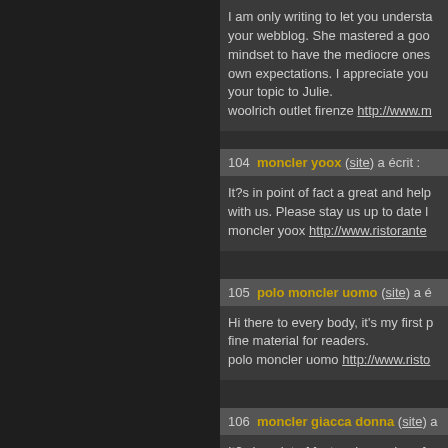I am only writing to let you understand your webblog. She mastered a good mindset to have the mediocre ones own expectations. I appreciate your topic to Julie. woolrich outlet firenze http://www.m...
104  moncler yoox (site) a écrit : It?s in point of fact a great and help with us. Please stay us up to date l moncler yoox http://www.ristorante...
105  polo moncler uomo (site) a é Hi there to every body, it's my first p fine material for readers. polo moncler uomo http://www.risto...
106  moncler giacca donna (site) a It?s in point of fact a nice and usefu with us. Please stay us informed lik moncler giacca donna http://www...